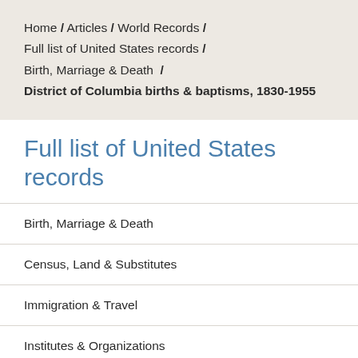Home / Articles / World Records / Full list of United States records / Birth, Marriage & Death / District of Columbia births & baptisms, 1830-1955
Full list of United States records
Birth, Marriage & Death
Census, Land & Substitutes
Immigration & Travel
Institutes & Organizations
Military Service & Conflict